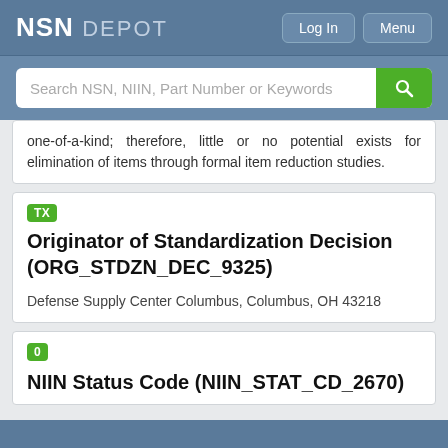NSN DEPOT
one-of-a-kind; therefore, little or no potential exists for elimination of items through formal item reduction studies.
Originator of Standardization Decision (ORG_STDZN_DEC_9325)
Defense Supply Center Columbus, Columbus, OH 43218
NIIN Status Code (NIIN_STAT_CD_2670)